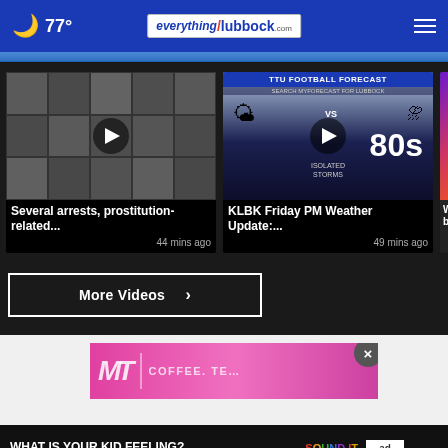77° | everything Lubbock .com
[Figure (screenshot): Thin blue banner strip with partial images visible]
[Figure (screenshot): Video thumbnail showing mugshot grid of arrested individuals with play button overlay. Title: Several arrests, prostitution-related... 44 mins ago]
[Figure (screenshot): Video thumbnail showing TTU Football Forecast weather graphic with '80s' temperature and 'Isolated Storms' text, play button overlay. Title: KLBK Friday PM Weather Update:... 49 mins ago]
[Figure (screenshot): Partial video thumbnail showing colorful background, partial title 'What y... befor...']
More Videos ›
[Figure (screenshot): Pink advertisement banner with partial text and a close button (×)]
[Figure (screenshot): Bottom advertisement bar: WHAT IS YOUR KID FEELING? GET SONGS TO SOUND IT OUT. | SOUND IT OUT | ad council | pivotal]